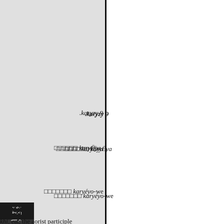.karyzy 9
□□□□□□ karyĒya
□□□□□□□ karyéyo-we
[Figure (other): Small image with indic script text]
khi, eat, the aorist participle
d fx hi, take, are, as in the fem. festa ditsqya), and of fx hi,
watu karyo-th-as, thou madest